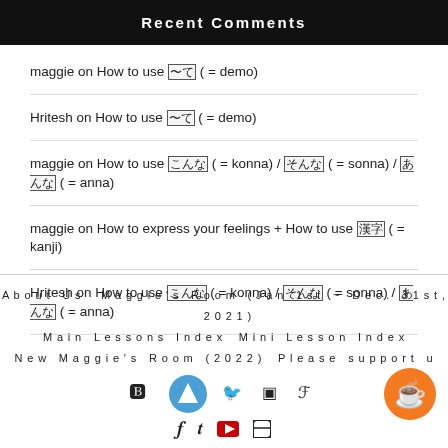Recent Comments
maggie on How to use 〜て ( = demo)
Hritesh on How to use 〜て ( = demo)
maggie on How to use こんな ( = konna) / そんな ( = sonna) / あんな ( = anna)
maggie on How to express your feelings + How to use 漢字 ( = kanji)
Hritesh on How to use こんな ( = konna) / そんな ( = sonna) / あんな ( = anna)
About Us   Maggie's Room (Jan 1st ~ Dec. 31st, 2021)   Main Lessons Index   Mini Lesson Index   New Maggie's Room (2022)   Please support us